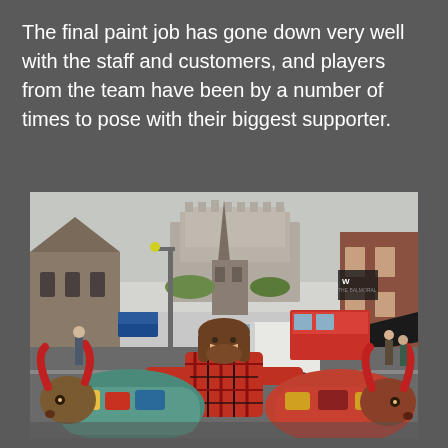The final paint job has gone down very well with the staff and customers, and players from the team have been by a number of times to pose with their biggest supporter.
[Figure (photo): A man with long hair and beard wearing a red plaid shirt poses outdoors on a street, leaning on two decorated bull/cow sculptures with red horns. In the background is Edinburgh Castle, a church spire, a double-decker bus, a white van, and red-stone buildings. The scene appears to be in Edinburgh, Scotland.]